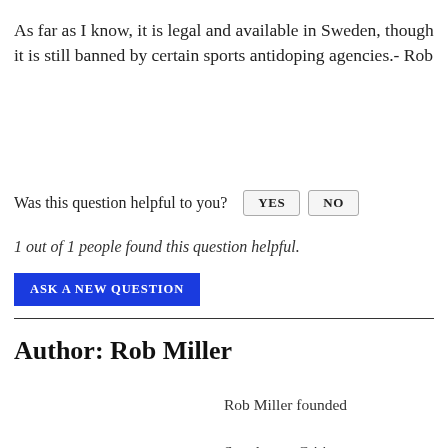As far as I know, it is legal and available in Sweden, though it is still banned by certain sports antidoping agencies.- Rob
Was this question helpful to you? YES NO
1 out of 1 people found this question helpful.
ASK A NEW QUESTION
Author: Rob Miller
Rob Miller founded SupplementCritique.com over